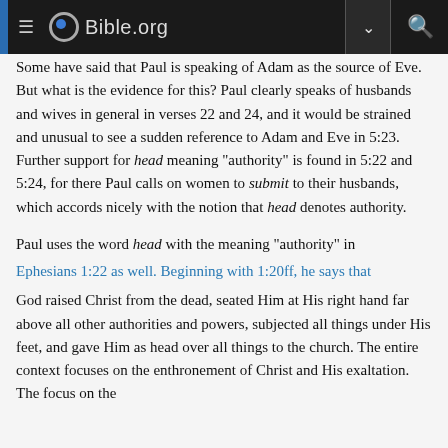Bible.org
Some have said that Paul is speaking of Adam as the source of Eve. But what is the evidence for this? Paul clearly speaks of husbands and wives in general in verses 22 and 24, and it would be strained and unusual to see a sudden reference to Adam and Eve in 5:23. Further support for head meaning “authority” is found in 5:22 and 5:24, for there Paul calls on women to submit to their husbands, which accords nicely with the notion that head denotes authority.
Paul uses the word head with the meaning “authority” in
Ephesians 1:22 as well. Beginning with 1:20ff, he says that
God raised Christ from the dead, seated Him at His right hand far above all other authorities and powers, subjected all things under His feet, and gave Him as head over all things to the church. The entire context focuses on the enthronement of Christ and His exaltation. The focus on the